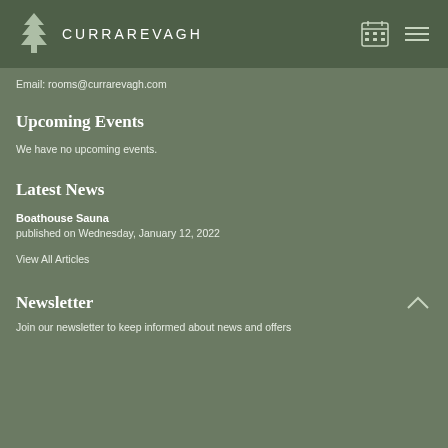CURRAREVAGH
Email: rooms@currarevagh.com
Upcoming Events
We have no upcoming events.
Latest News
Boathouse Sauna
published on Wednesday, January 12, 2022
View All Articles
Newsletter